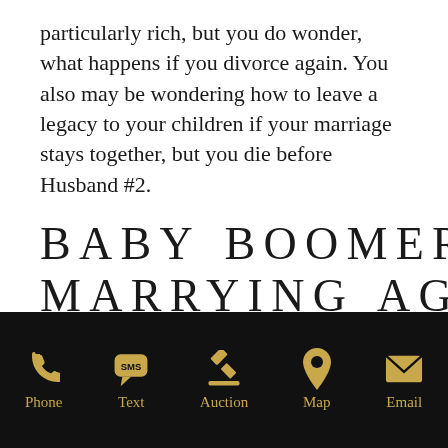particularly rich, but you do wonder, what happens if you divorce again. You also may be wondering how to leave a legacy to your children if your marriage stays together, but you die before Husband #2.
BABY BOOMERS MARRYING AGAIN: HERE'S WHERE PRE-NUPS FIT IN
Most people would like to leave a financial
[Figure (infographic): Black footer navigation bar with five gold icons and labels: Phone (phone handset icon), Text (SMS bubble icon), Auction (gavel icon), Map (map pin icon), Email (envelope icon)]